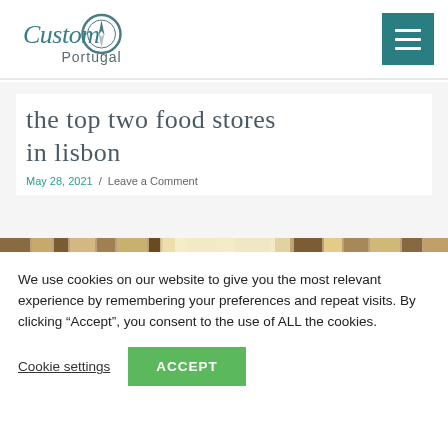Custom Portugal — navigation header with logo and hamburger menu
the top two food stores in lisbon
May 28, 2021 / Leave a Comment
[Figure (photo): Partial view of books or food store shelves, warm tones]
We use cookies on our website to give you the most relevant experience by remembering your preferences and repeat visits. By clicking “Accept”, you consent to the use of ALL the cookies.
Cookie settings   ACCEPT